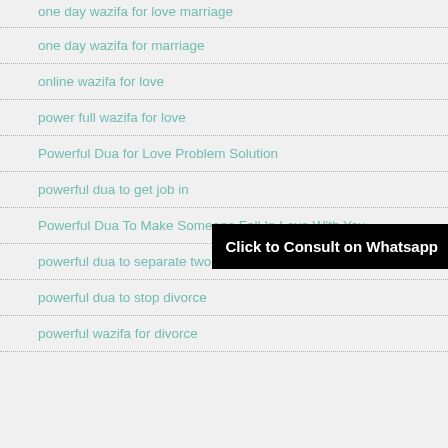one day wazifa for love marriage
one day wazifa for marriage
online wazifa for love
power full wazifa for love
Powerful Dua for Love Problem Solution
powerful dua to get job in
Powerful Dua To Make Someone Fall In Love With You
powerful dua to separate two person
powerful dua to stop divorce
powerful wazifa for divorce
[Figure (screenshot): Black overlay banner reading 'Click to Consult on Whatsapp']